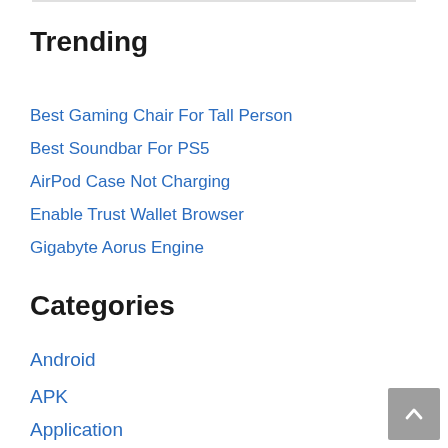Trending
Best Gaming Chair For Tall Person
Best Soundbar For PS5
AirPod Case Not Charging
Enable Trust Wallet Browser
Gigabyte Aorus Engine
Categories
Android
APK
Application